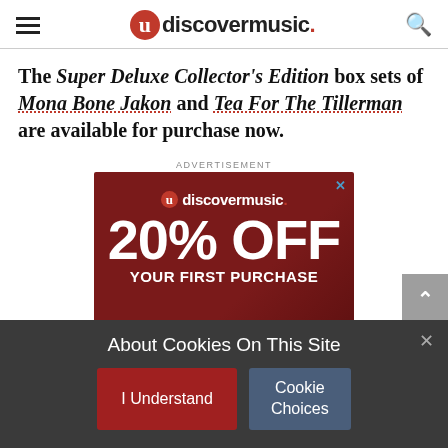udiscovermusic.
The Super Deluxe Collector’s Edition box sets of Mona Bone Jakon and Tea For The Tillerman are available for purchase now.
ADVERTISEMENT
[Figure (infographic): uDiscover Music advertisement banner showing 20% OFF YOUR FIRST PURCHASE on a dark red background]
About Cookies On This Site
I Understand   Cookie Choices